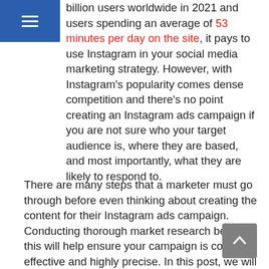≡ (hamburger menu icon)
billion users worldwide in 2021 and users spending an average of 53 minutes per day on the site, it pays to use Instagram in your social media marketing strategy. However, with Instagram's popularity comes dense competition and there's no point creating an Instagram ads campaign if you are not sure who your target audience is, where they are based, and most importantly, what they are likely to respond to.
There are many steps that a marketer must go through before even thinking about creating the content for their Instagram ads campaign. Conducting thorough market research before this will help ensure your campaign is cost-effective and highly precise. In this post, we will outline the key stages to designing a highly precise Instagram ads campaign: